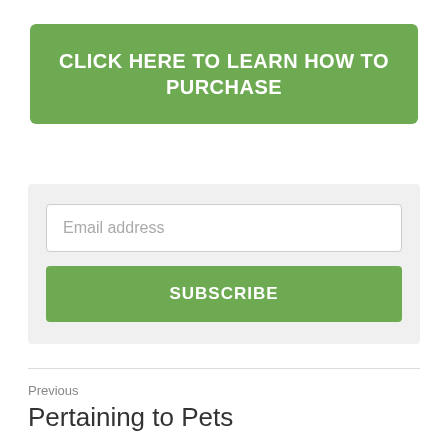CLICK HERE TO LEARN HOW TO PURCHASE
Email address
SUBSCRIBE
Previous
Pertaining to Pets